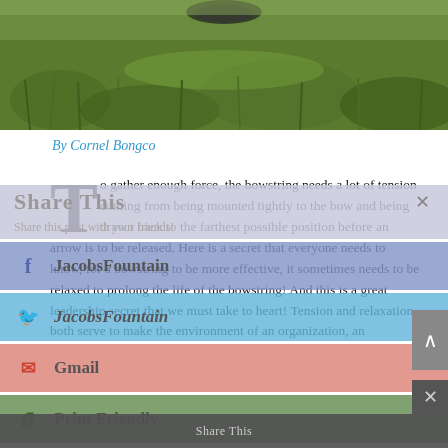[Figure (photo): Grass/lawn photograph, top portion of the image showing green grass and possibly a turtle or dark object partially visible at top edge.]
By Cornel Bongco
To gather enough force, the bowstring needs a lot of tension coming from being mounted tightly to the bow and being drawn back to the farthest possible position before an arrow is to be released. Here is a secret that everyone needs to know, for a bowstring to be more effective, it sometimes needs to be relaxed to prolong the life of the bowstring! And this is a great leadership secret that we must take to heart! Tension and relaxation both serve to make the environment of an organization, an
[Figure (screenshot): Share This overlay popup with buttons: JacobsFountain (Facebook), JacobsFountain (Twitter), Gmail, Print Friendly. Also a bottom bar reading Share This.]